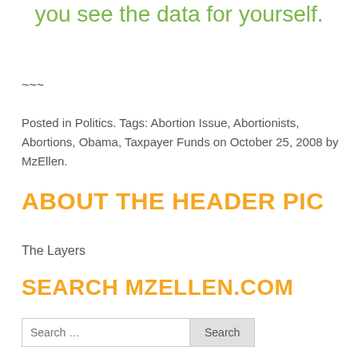you see the data for yourself.
~~~
Posted in Politics. Tags: Abortion Issue, Abortionists, Abortions, Obama, Taxpayer Funds on October 25, 2008 by MzEllen.
ABOUT THE HEADER PIC
The Layers
SEARCH MZELLEN.COM
Search …